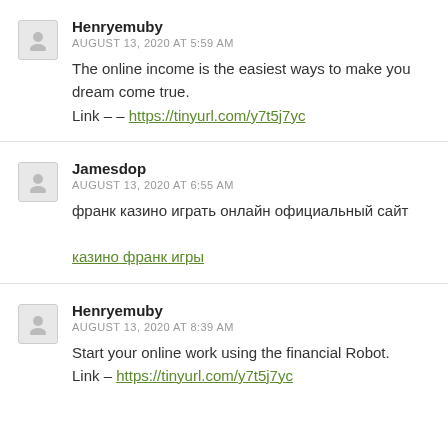Henryemuby
AUGUST 13, 2020 AT 5:59 AM
The online income is the easiest ways to make you dream come true.
Link – – https://tinyurl.com/y7t5j7yc
Jamesdop
AUGUST 13, 2020 AT 6:55 AM
франк казино играть онлайн официальный сайт
казино франк игры
Henryemuby
AUGUST 13, 2020 AT 8:39 AM
Start your online work using the financial Robot.
Link – https://tinyurl.com/y7t5j7yc